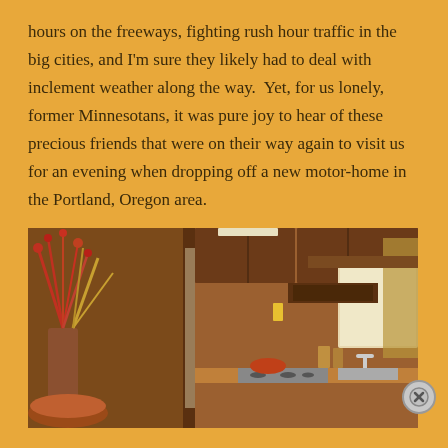hours on the freeways, fighting rush hour traffic in the big cities, and I'm sure they likely had to deal with inclement weather along the way.  Yet, for us lonely, former Minnesotans, it was pure joy to hear of these precious friends that were on their way again to visit us for an evening when dropping off a new motor-home in the Portland, Oregon area.
[Figure (photo): Interior of a motor home showing wood-paneled kitchen area with curtained windows, a floral arrangement with red dried flowers, appliances on countertop, and warm orange-brown tones throughout.]
Advertisements